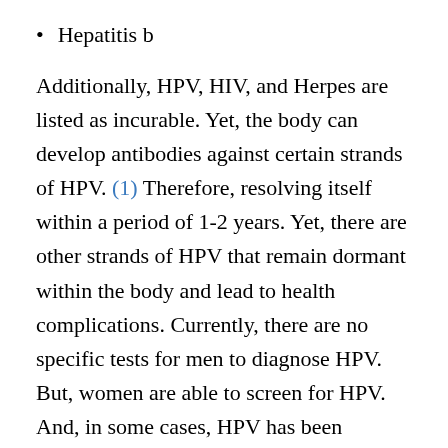Hepatitis b
Additionally, HPV, HIV, and Herpes are listed as incurable. Yet, the body can develop antibodies against certain strands of HPV. (1) Therefore, resolving itself within a period of 1-2 years. Yet, there are other strands of HPV that remain dormant within the body and lead to health complications. Currently, there are no specific tests for men to diagnose HPV. But, women are able to screen for HPV. And, in some cases, HPV has been detected due to an abnormal PAP smear. As it pertains to viral STIs early diagnosis is beneficial in proper